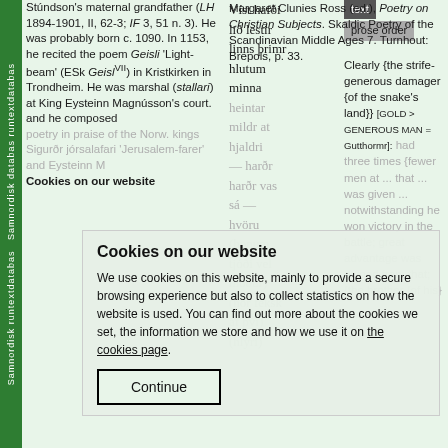Samnordisk runtextdatabas Samnordisk databas runtextdatabas
Stúndson's maternal grandfather (LH 1894-1901, II, 62-3; IF 3, 51 n. 3). He was probably born c. 1090. In 1153, he recited the poem Geisli 'Light-beam' (ESk Geisl/VII) in Kristkirken in Trondheim. He was marshal (stallari) at King Eysteinn Magnússon's court. and he composed poetry in praise of the Norw. kings Sigurðr jórsalafari 'Jerusalem-farer' and Eysteinn M...
Margaret Clunies Ross (ed.), Poetry on Christian Subjects. Skaldic Poetry of the Scandinavian Middle Ages 7. Turnhout: Brepols, p. 33.
Víst hafði lið lestir linns þrimr hlutum minna heintar mildr at hjaldri — harðr ... harðr vas sá — ... (hlýri) tjóði vel móður) (hór feksk af því) (hlýri)
text | prose order
Clearly {the strife-generous damager {of the snake's land}} [GOLD > GENEROUS MAN = Gutthormr]: had three times {fewer men at ... that ... was given ... notwithstanding he won victory in the battle; great advantage was gained from that; {the brother {of his}
Cookies on our website
We use cookies on this website, mainly to provide a secure browsing experience but also to collect statistics on how the website is used. You can find out more about the cookies we set, the information we store and how we use it on the cookies page.
Continue